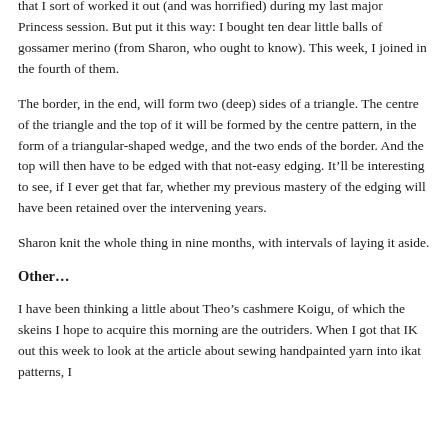that I sort of worked it out (and was horrified) during my last major Princess session. But put it this way: I bought ten dear little balls of gossamer merino (from Sharon, who ought to know). This week, I joined in the fourth of them.
The border, in the end, will form two (deep) sides of a triangle. The centre of the triangle and the top of it will be formed by the centre pattern, in the form of a triangular-shaped wedge, and the two ends of the border. And the top will then have to be edged with that not-easy edging. It’ll be interesting to see, if I ever get that far, whether my previous mastery of the edging will have been retained over the intervening years.
Sharon knit the whole thing in nine months, with intervals of laying it aside.
Other…
I have been thinking a little about Theo’s cashmere Koigu, of which the skeins I hope to acquire this morning are the outriders. When I got that IK out this week to look at the article about sewing handpainted yarn into ikat patterns, I